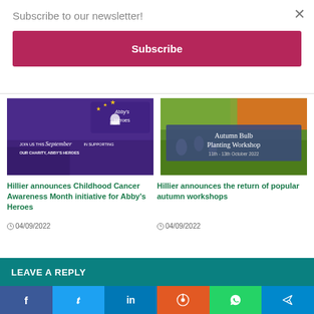Subscribe to our newsletter!
Subscribe
[Figure (illustration): Abby's Heroes charity purple banner: JOIN US THIS September IN SUPPORTING OUR CHARITY, ABBY'S HEROES]
Hillier announces Childhood Cancer Awareness Month initiative for Abby's Heroes
04/09/2022
[Figure (photo): Autumn Bulb Planting Workshop 11th - 13th October 2022 sign with flowers]
Hillier announces the return of popular autumn workshops
04/09/2022
LEAVE A REPLY